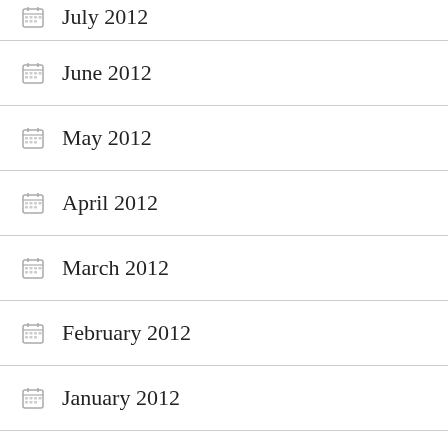July 2012
June 2012
May 2012
April 2012
March 2012
February 2012
January 2012
December 2011
October 2011
September 2011